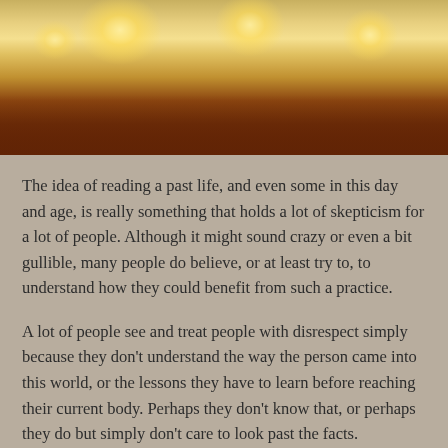[Figure (photo): Close-up photo of several lit tea candles with warm glowing flames against an orange-red background]
The idea of reading a past life, and even some in this day and age, is really something that holds a lot of skepticism for a lot of people. Although it might sound crazy or even a bit gullible, many people do believe, or at least try to, to understand how they could benefit from such a practice.
A lot of people see and treat people with disrespect simply because they don't understand the way the person came into this world, or the lessons they have to learn before reaching their current body. Perhaps they don't know that, or perhaps they do but simply don't care to look past the facts.
The truth is, there is a lot of skepticism when it comes to